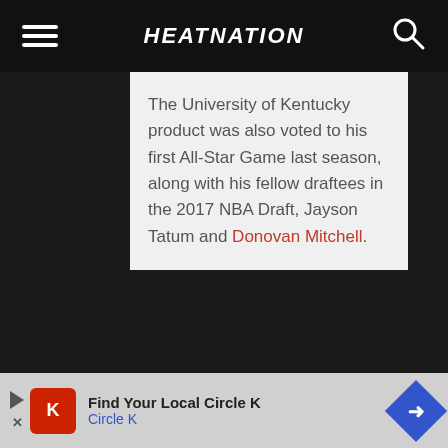HEATNATION
The University of Kentucky product was also voted to his first All-Star Game last season, along with his fellow draftees in the 2017 NBA Draft, Jayson Tatum and Donovan Mitchell.
Find Your Local Circle K
Circle K